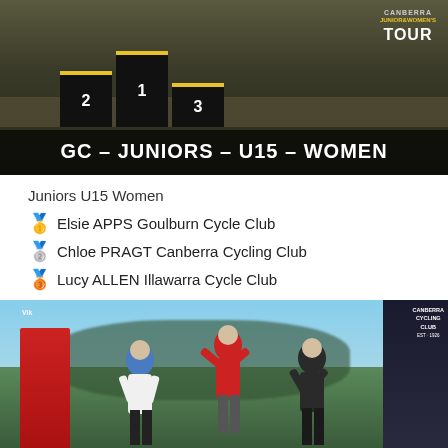[Figure (photo): Cycling podium photo with GC - Juniors - U15 - Women banner overlay, showing numbered podium positions 1, 2, 3 with Canberra Junior Women's Tour branding]
Juniors U15 Women
🥇 Elsie APPS Goulburn Cycle Club
🥈 Chloe PRAGT Canberra Cycling Club
🥉 Lucy ALLEN Illawarra Cycle Club
[Figure (photo): Three male cyclists celebrating on a podium outdoors, with red Viking banner on left and Canberra Cycling Club banner on right. Center cyclist in red and yellow jersey has arms raised.]